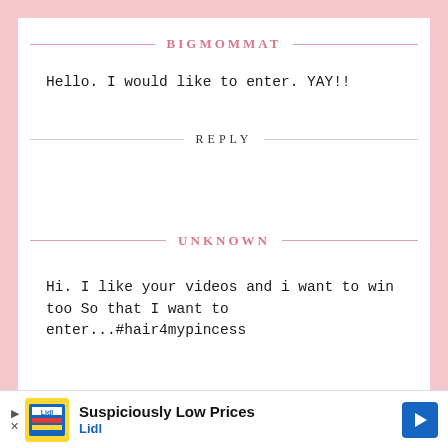BIGMOMMAT
Hello. I would like to enter. YAY!!
REPLY
UNKNOWN
Hi. I like your videos and i want to win too So that I want to enter...#hair4mypincess
[Figure (screenshot): Advertisement banner: Lidl 'Suspiciously Low Prices' with yellow Lidl logo image, play button, navigation arrow icon.]